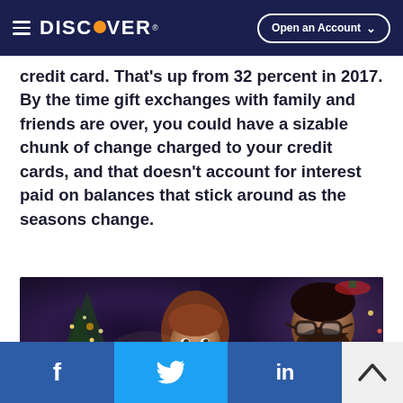DISCOVER — Open an Account
credit card. That’s up from 32 percent in 2017. By the time gift exchanges with family and friends are over, you could have a sizable chunk of change charged to your credit cards, and that doesn’t account for interest paid on balances that stick around as the seasons change.
[Figure (photo): A smiling couple near a decorated Christmas tree with lights and ornaments. The man has a beard and glasses; the woman has reddish-brown hair. Holiday decorations visible in background.]
f  (Facebook share)  |  (Twitter share)  |  in (LinkedIn share)  |  Back to top